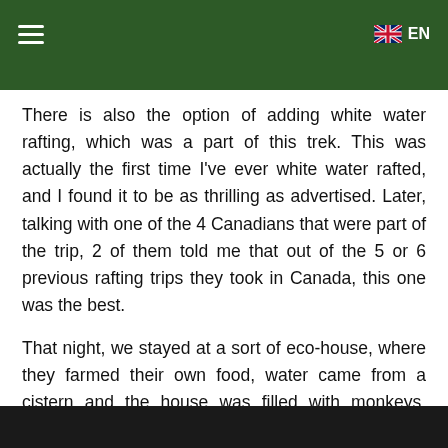≡  EN
There is also the option of adding white water rafting, which was a part of this trek. This was actually the first time I've ever white water rafted, and I found it to be as thrilling as advertised. Later, talking with one of the 4 Canadians that were part of the trip, 2 of them told me that out of the 5 or 6 previous rafting trips they took in Canada, this one was the best.
That night, we stayed at a sort of eco-house, where they farmed their own food, water came from a cistern and the house was filled with monkeys, coatis, puppies, cats and kittens, as well as an assortment of parrots – one big blue one that occasionally said, 'Hola!'
[Figure (photo): Dark image strip at bottom of page, partially visible photo]